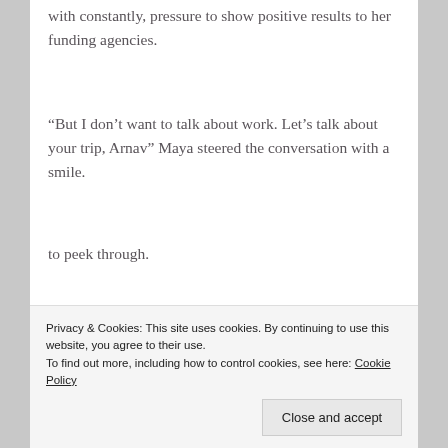with constantly, pressure to show positive results to her funding agencies.
“But I don’t want to talk about work. Let’s talk about your trip, Arnav” Maya steered the conversation with a smile.
to peek through.
Privacy & Cookies: This site uses cookies. By continuing to use this website, you agree to their use.
To find out more, including how to control cookies, see here: Cookie Policy
Close and accept